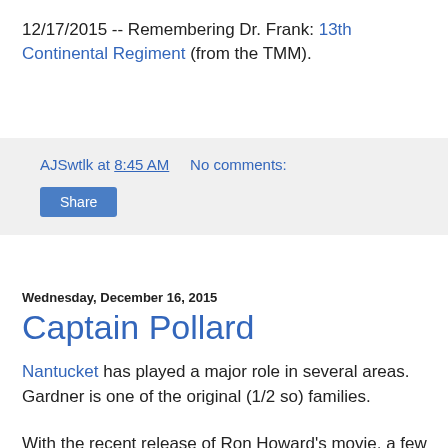12/17/2015 -- Remembering Dr. Frank: 13th Continental Regiment (from the TMM).
AJSwtlk at 8:45 AM   No comments:
Share
Wednesday, December 16, 2015
Captain Pollard
Nantucket has played a major role in several areas. Gardner is one of the original (1/2 so) families.
With the recent release of Ron Howard's movie, a few links to related detail might be in order. The book that motivated the movie can be browsed via Google.
In the Heart of the Sea: The Tragedy of the Whaleship Essex (2000) Nathaniel Philbrick